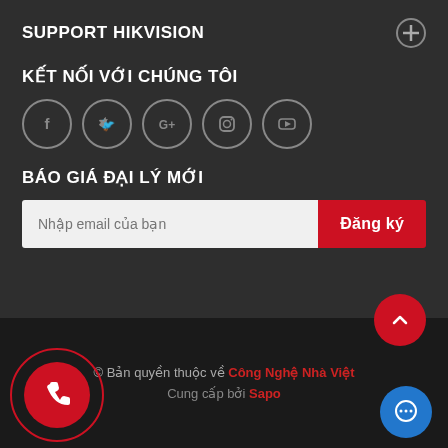SUPPORT HIKVISION
KẾT NỐI VỚI CHÚNG TÔI
[Figure (illustration): Five social media icon circles: Facebook, Twitter, Google+, Instagram, YouTube]
BÁO GIÁ ĐẠI LÝ MỚI
Nhập email của bạn [input field] Đăng ký [button]
© Bản quyền thuộc về Công Nghệ Nhà Việt
Cung cấp bởi Sapo